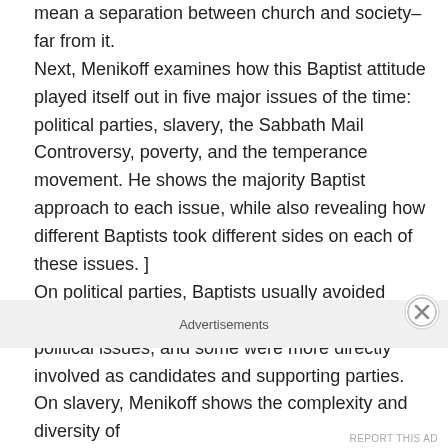mean a separation between church and society– far from it. Next, Menikoff examines how this Baptist attitude played itself out in five major issues of the time: political parties, slavery, the Sabbath Mail Controversy, poverty, and the temperance movement. He shows the majority Baptist approach to each issue, while also revealing how different Baptists took different sides on each of these issues. ] On political parties, Baptists usually avoided endorsing candidates or parties, yet spoke out on political issues, and some were more directly involved as candidates and supporting parties. On slavery, Menikoff shows the complexity and diversity of
Advertisements